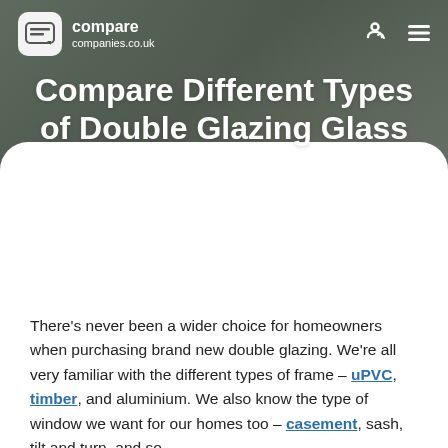compare companies.co.uk
[Figure (photo): Hero background photo of two people looking at something together, with a dark overlay]
Compare Different Types of Double Glazing Glass
June 5, 2019
There's never been a wider choice for homeowners when purchasing brand new double glazing. We're all very familiar with the different types of frame – uPVC, timber, and aluminium. We also know the type of window we want for our homes too – casement, sash, tilt and turn, and so